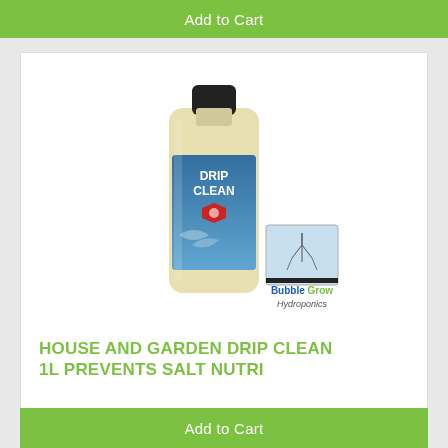[Figure (other): Green 'Add to Cart' button at the top of the page]
[Figure (photo): Product photo of House and Garden Drip Clean 1L bottle with a blue ocean-themed label showing 'DRIP CLEAN' text and a red shield logo. A small inset image shows hydroponics roots. 'Bubble Grow Hydroponics' branding appears at bottom right in blue and green text.]
HOUSE AND GARDEN DRIP CLEAN 1L PREVENTS SALT NUTRI
$77.90
[Figure (other): Green 'Add to Cart' button at the bottom of the card]